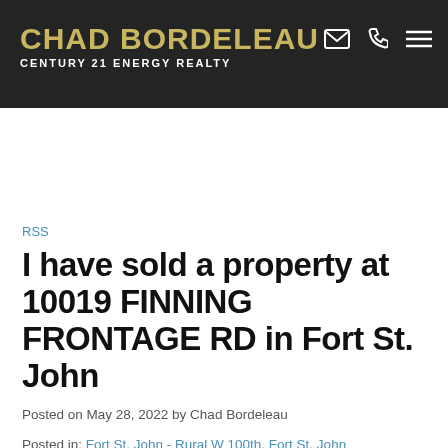CHAD BORDELEAU — CENTURY 21 ENERGY REALTY
[Figure (screenshot): Website header with search bar on black background]
RSS
I have sold a property at 10019 FINNING FRONTAGE RD in Fort St. John
Posted on May 28, 2022 by Chad Bordeleau
Posted in: Fort St. John - Rural W 100th, Fort St. John